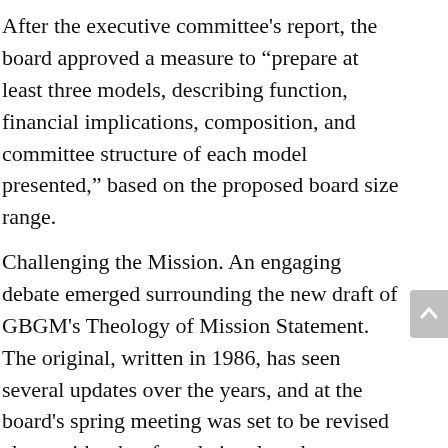After the executive committee’s report, the board approved a measure to “prepare at least three models, describing function, financial implications, composition, and committee structure of each model presented,” based on the proposed board size range.
Challenging the Mission. An engaging debate emerged surrounding the new draft of GBGM’s Theology of Mission Statement. The original, written in 1986, has seen several updates over the years, and at the board’s spring meeting was set to be revised along with other foundational goals.